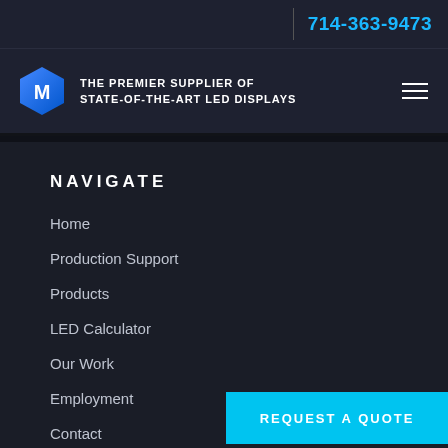714-363-9473
[Figure (logo): Matrix Visual logo - a blue hexagonal M shape with the text MATRIX VISUAL below]
THE PREMIER SUPPLIER OF STATE-OF-THE-ART LED DISPLAYS
NAVIGATE
Home
Production Support
Products
LED Calculator
Our Work
Employment
Contact
REQUEST A QUOTE